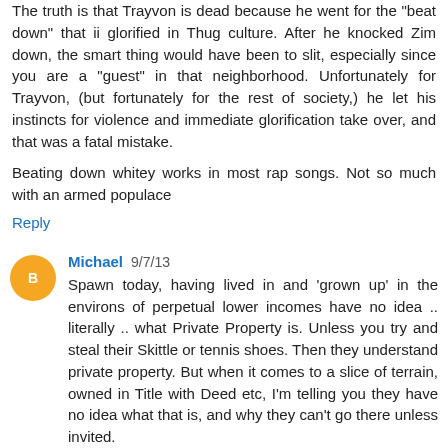The truth is that Trayvon is dead because he went for the "beat down" that ii glorified in Thug culture. After he knocked Zim down, the smart thing would have been to slit, especially since you are a "guest" in that neighborhood. Unfortunately for Trayvon, (but fortunately for the rest of society,) he let his instincts for violence and immediate glorification take over, and that was a fatal mistake.
Beating down whitey works in most rap songs. Not so much with an armed populace
Reply
Michael  9/7/13
Spawn today, having lived in and 'grown up' in the environs of perpetual lower incomes have no idea .. literally .. what Private Property is. Unless you try and steal their Skittle or tennis shoes. Then they understand private property. But when it comes to a slice of terrain, owned in Title with Deed etc, I'm telling you they have no idea what that is, and why they can't go there unless invited.